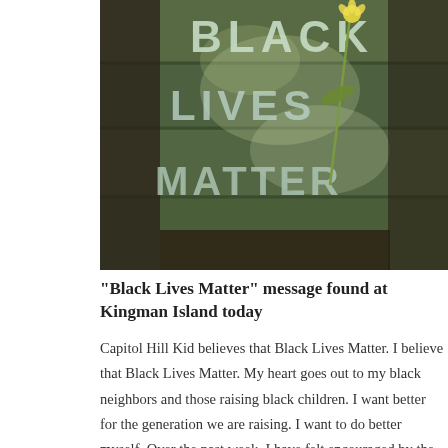[Figure (photo): Photo of wooden boards with 'BLACK LIVES MATTER' written in chalk letters, with a flower/dandelion placed on the boards, surrounded by dark mulch or soil]
“Black Lives Matter” message found at Kingman Island today
Capitol Hill Kid believes that Black Lives Matter. I believe that Black Lives Matter. My heart goes out to my black neighbors and those raising black children. I want better for the generation we are raising. I want to do better myself. Over the past week, I have felt encouraged by the anti-racism